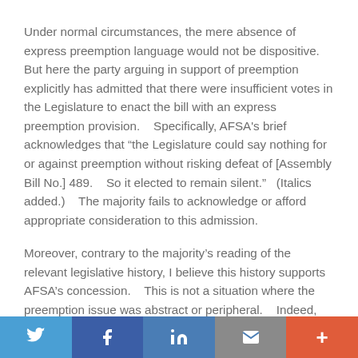Under normal circumstances, the mere absence of express preemption language would not be dispositive.    But here the party arguing in support of preemption explicitly has admitted that there were insufficient votes in the Legislature to enact the bill with an express preemption provision.    Specifically, AFSA's brief acknowledges that “the Legislature could say nothing for or against preemption without risking defeat of [Assembly Bill No.] 489.    So it elected to remain silent.”   (Italics added.)    The majority fails to acknowledge or afford appropriate consideration to this admission.
Moreover, contrary to the majority’s reading of the relevant legislative history, I believe this history supports AFSA’s concession.    This is not a situation where the preemption issue was abstract or peripheral.    Indeed, the issue of preemption was arguably at the forefront of the debate over
Social share bar: Twitter, Facebook, LinkedIn, Email, More